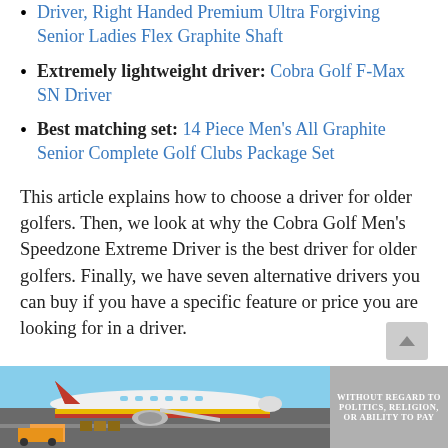Driver, Right Handed Premium Ultra Forgiving Senior Ladies Flex Graphite Shaft
Extremely lightweight driver: Cobra Golf F-Max SN Driver
Best matching set: 14 Piece Men's All Graphite Senior Complete Golf Clubs Package Set
This article explains how to choose a driver for older golfers. Then, we look at why the Cobra Golf Men's Speedzone Extreme Driver is the best driver for older golfers. Finally, we have seven alternative drivers you can buy if you have a specific feature or price you are looking for in a driver.
[Figure (photo): Advertisement banner showing an airplane being loaded at an airport with text 'WITHOUT REGARD TO POLITICS, RELIGION, OR ABILITY TO PAY']